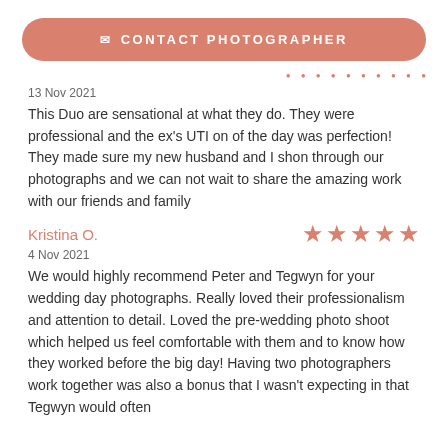✉ CONTACT PHOTOGRAPHER
13 Nov 2021
This Duo are sensational at what they do. They were professional and the ex's UTI on of the day was perfection! They made sure my new husband and I shon through our photographs and we can not wait to share the amazing work with our friends and family
Kristina O.
4 Nov 2021
We would highly recommend Peter and Tegwyn for your wedding day photographs. Really loved their professionalism and attention to detail. Loved the pre-wedding photo shoot which helped us feel comfortable with them and to know how they worked before the big day! Having two photographers work together was also a bonus that I wasn't expecting in that Tegwyn would often